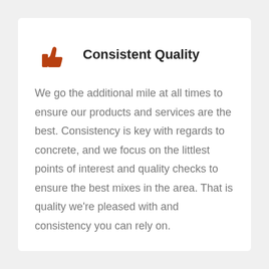Consistent Quality
We go the additional mile at all times to ensure our products and services are the best. Consistency is key with regards to concrete, and we focus on the littlest points of interest and quality checks to ensure the best mixes in the area. That is quality we're pleased with and consistency you can rely on.